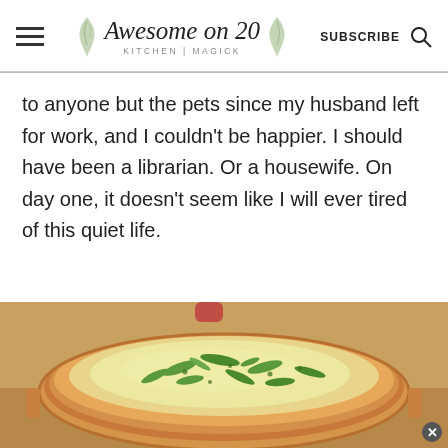Awesome on 20 KITCHEN | MAGICK — SUBSCRIBE
to anyone but the pets since my husband left for work, and I couldn't be happier. I should have been a librarian. Or a housewife. On day one, it doesn't seem like I will ever tired of this quiet life.
[Figure (photo): A baked quiche or pie with a golden brown crust, topped with sliced green onions, in a round baking dish with a red handle visible in the background.]